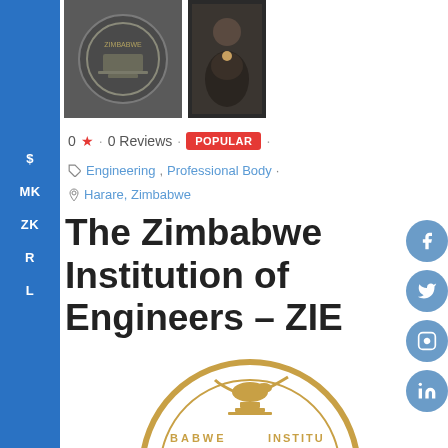[Figure (photo): Institution seal (dark embossed) and portrait photo of a person in formal attire with a medallion]
0 ★ · 0 Reviews · POPULAR ·
Engineering, Professional Body ·
Harare, Zimbabwe
The Zimbabwe Institution of Engineers – ZIE
[Figure (logo): Zimbabwe Institution of Engineers circular logo in gold, partially visible at bottom]